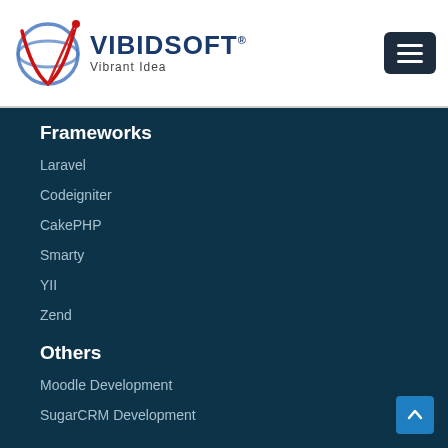[Figure (logo): Vibidsoft logo with globe/V graphic and text 'VIBIDSOFT Vibrant Idea']
Frameworks
Laravel
Codeigniter
CakePHP
Smarty
YII
Zend
Others
Moodle Development
SugarCRM Development